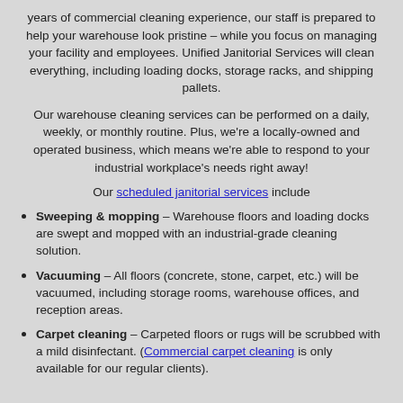years of commercial cleaning experience, our staff is prepared to help your warehouse look pristine – while you focus on managing your facility and employees. Unified Janitorial Services will clean everything, including loading docks, storage racks, and shipping pallets.
Our warehouse cleaning services can be performed on a daily, weekly, or monthly routine. Plus, we're a locally-owned and operated business, which means we're able to respond to your industrial workplace's needs right away!
Our scheduled janitorial services include
Sweeping & mopping – Warehouse floors and loading docks are swept and mopped with an industrial-grade cleaning solution.
Vacuuming – All floors (concrete, stone, carpet, etc.) will be vacuumed, including storage rooms, warehouse offices, and reception areas.
Carpet cleaning – Carpeted floors or rugs will be scrubbed with a mild disinfectant. (Commercial carpet cleaning is only available for our regular clients).